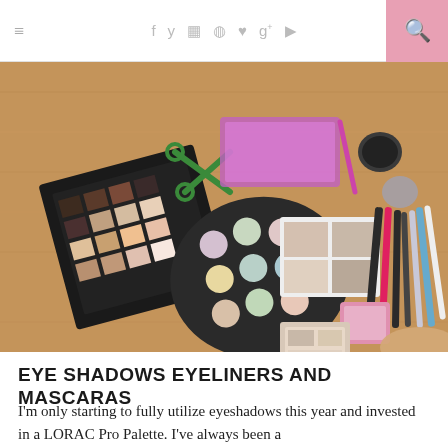≡  f  y  ☷  ⊕  ♥  g+  ▶  🔍
[Figure (photo): Top-down flat lay photo of various eye makeup products on a wooden surface, including a LORAC PRO eyeshadow palette, a colorful round eyeshadow palette, a neutral eyeshadow quad, multiple eyeliners and mascaras, scissors, and other cosmetic items.]
EYE SHADOWS EYELINERS AND MASCARAS
I'm only starting to fully utilize eyeshadows this year and invested in a LORAC Pro Palette. I've always been a